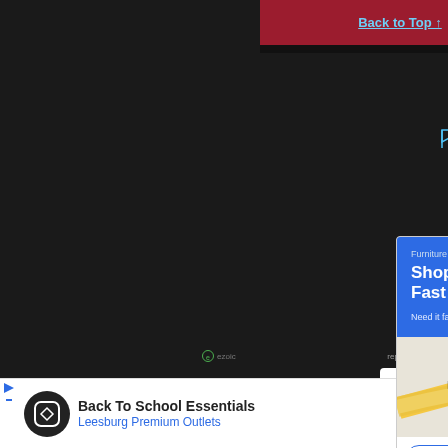[Figure (screenshot): Top red navigation bar with 'Back to Top' link on dark background]
[Figure (screenshot): Social media sharing sidebar with Facebook, Twitter, LinkedIn, Reddit, and Email circular icon buttons]
[Figure (screenshot): Furniture Max advertisement with blue header saying 'Shop In Stock, Get It Fast', Google Maps view near McNair/Sunrise Valley Dr, and Store info/Directions buttons]
ezoic   report this ad
[Figure (screenshot): Bottom banner ad: Back To School Essentials - Leesburg Premium Outlets with navigation arrow icon]